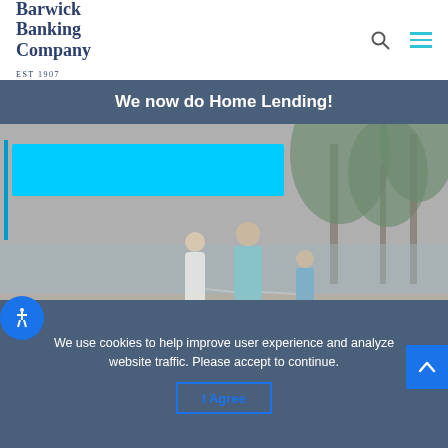Barwick Banking Company EST 1907
We now do Home Lending!
[Figure (photo): Hero banner with a family of three (man, woman, child) walking on a beach toward palm trees, with a cyan/blue text input box overlay on the left side]
We use cookies to help improve user experience and analyze website traffic. Please accept to continue.
I Agree